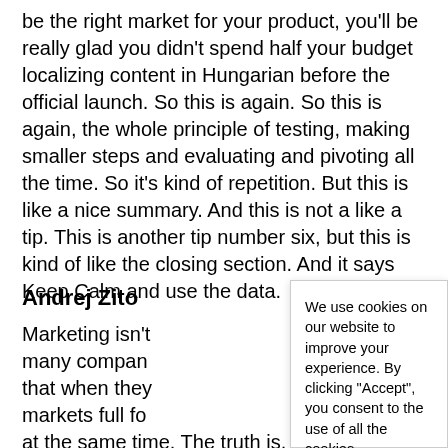be the right market for your product, you'll be really glad you didn't spend half your budget localizing content in Hungarian before the official launch. So this is again. So this is again, the whole principle of testing, making smaller steps and evaluating and pivoting all the time. So it's kind of repetition. But this is like a nice summary. And this is not a like a tip. This is another tip number six, but this is kind of like the closing section. And it says Keep Calm and use the data.
Andrej Zito
Marketing isn't many compan that when they markets full fo at the same time. The truth is, most language
[Figure (other): Cookie consent banner overlay with text: 'We use cookies on our website to improve your experience. By clicking "Accept", you consent to the use of all the cookies.' with 'Cookie settings' and 'Accept' buttons.]